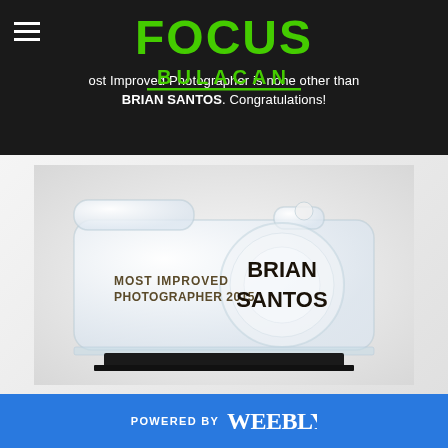FOCUS BULACAN
Most Improved Photographer is none other than BRIAN SANTOS. Congratulations!
[Figure (photo): Glass/acrylic camera-shaped award trophy engraved with 'MOST IMPROVED PHOTOGRAPHER 2015' and 'BRIAN SANTOS' on a black base stand]
POWERED BY weebly